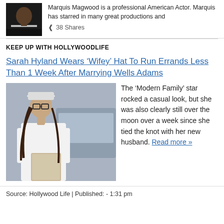[Figure (photo): Small headshot of Marquis Magwood, a professional American Actor, shown from shoulders up wearing dark clothing]
Marquis Magwood is a professional American Actor. Marquis has starred in many great productions and
38 Shares
KEEP UP WITH HOLLYWOODLIFE
Sarah Hyland Wears 'Wifey' Hat To Run Errands Less Than 1 Week After Marrying Wells Adams
[Figure (photo): Sarah Hyland wearing a white cap and white long-sleeve shirt, carrying a patterned bag, standing near a car]
The 'Modern Family' star rocked a casual look, but she was also clearly still over the moon over a week since she tied the knot with her new husband. Read more »
Source: Hollywood Life | Published: - 1:31 pm